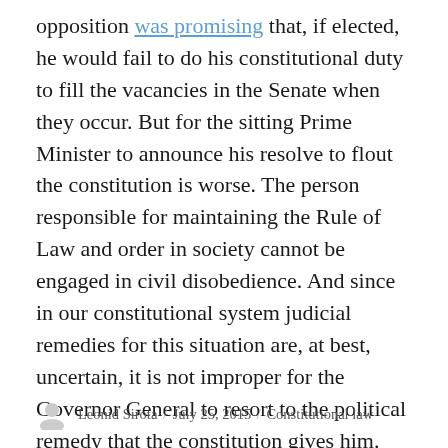opposition was promising that, if elected, he would fail to do his constitutional duty to fill the vacancies in the Senate when they occur. But for the sitting Prime Minister to announce his resolve to flout the constitution is worse. The person responsible for maintaining the Rule of Law and order in society cannot be engaged in civil disobedience. And since in our constitutional system judicial remedies for this situation are, at best, uncertain, it is not improper for the Governor General to resort to the political remedy that the constitution gives him. Once again: Mr. Johnston, dismiss Mr. Harper now.
Leonid Sirota / July 25, 2015 / Constitutional law